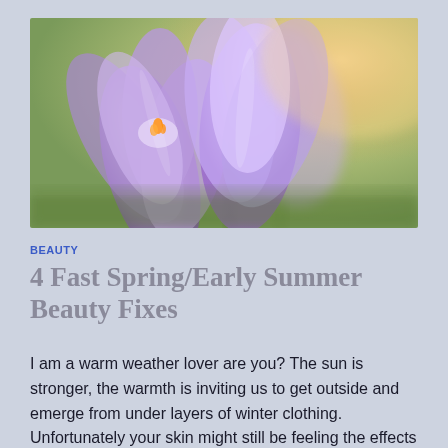[Figure (photo): Close-up photograph of purple crocus flowers with soft bokeh background in warm golden tones]
BEAUTY
4 Fast Spring/Early Summer Beauty Fixes
I am a warm weather lover are you? The sun is stronger, the warmth is inviting us to get outside and emerge from under layers of winter clothing. Unfortunately your skin might still be feeling the effects of the cold harsh air. Here are a few beauty fixes (some you can even make at home) to get your